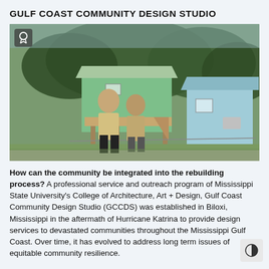GULF COAST COMMUNITY DESIGN STUDIO
[Figure (photo): A man and woman stand together in front of two houses under construction or renovation — one green elevated on stilts, one light blue — with trees in the background. A ribbon/award badge icon appears in the upper left corner of the image.]
How can the community be integrated into the rebuilding process? A professional service and outreach program of Mississippi State University's College of Architecture, Art + Design, Gulf Coast Community Design Studio (GCCDS) was established in Biloxi, Mississippi in the aftermath of Hurricane Katrina to provide design services to devastated communities throughout the Mississippi Gulf Coast. Over time, it has evolved to address long term issues of equitable community resilience.